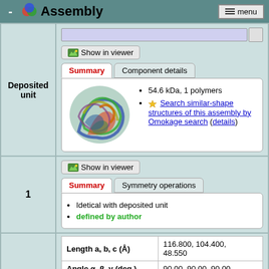- Assembly  menu
Deposited unit
Show in viewer
Summary | Component details
54.6 kDa, 1 polymers
Search similar-shape structures of this assembly by Omokage search (details)
[Figure (illustration): 3D protein structure ribbon diagram in multicolor (blue, green, red, yellow)]
1
Show in viewer
Summary | Symmetry operations
Idetical with deposited unit
defined by author
| Property | Value |
| --- | --- |
| Length a, b, c (Å) | 116.800, 104.400, 48.550 |
| Angle α, β, γ (deg.) | 90.00, 90.00, 90.00 |